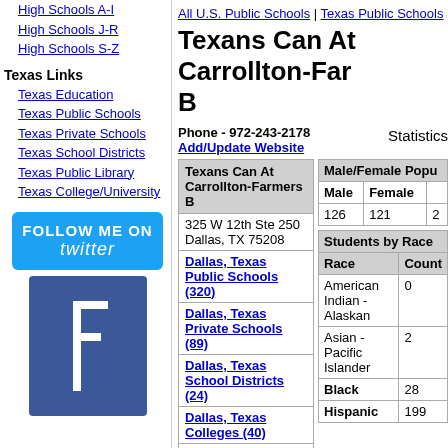High Schools A-I
High Schools J-R
High Schools S-Z
Texas Links
Texas Education
Texas Public Schools
Texas Private Schools
Texas School Districts
Texas Public Library
Texas College/University
[Figure (screenshot): Follow me on Twitter button (blue rounded rectangle)]
[Figure (logo): Facebook logo icon (blue square with white F)]
All U.S. Public Schools | Texas Public Schools
Texans Can At Carrollton-Farmers B
Phone - 972-243-2178
Add/Update Website
Statistics
| Texans Can At Carrollton-Farmers B |
| --- |
| 325 W 12th Ste 250
Dallas, TX 75208 |
| Dallas, Texas Public Schools (320) |
| Dallas, Texas Private Schools (89) |
| Dallas, Texas School Districts (24) |
| Dallas, Texas Colleges (40) |
| Dallas, Texas Public Libraries (25) |
| Grades Taught/District Info |
| Male/Female Population | Male | Female |
| --- | --- | --- |
| 126 | 121 |
| Students by Race |
| Race | Count |
| American Indian - Alaskan | 0 |
| Asian - Pacific Islander | 2 |
| Black | 28 |
| Hispanic | 199 |